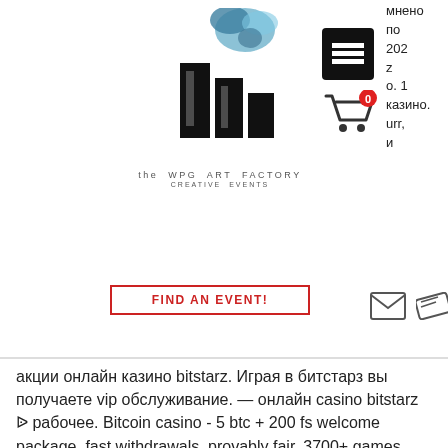[Figure (logo): The WPG Art Factory logo with ink splash and stylized letters, with text 'the WPG ART FACTORY' and 'CREATIVE EVENTS']
[Figure (illustration): Hamburger menu icon (three horizontal lines in black square)]
[Figure (illustration): Shopping cart icon with red badge showing '0']
мнено по 202 z о. 1 казино. urr, и
[Figure (illustration): FIND AN EVENT! button with red border]
[Figure (illustration): Email envelope icon and ticket icon]
акции онлайн казино bitstarz. Играя в битстарз вы получаете vip обслуживание. — онлайн casino bitstarz ᐉ рабочее. Bitcoin casino - 5 btc + 200 fs welcome package, fast withdrawals, provably fair, 3700+ games, 24/7 support, multiple (crypto) currencies If you're new to Bitcoin or crypto, you'll also be pleased to find out that BitStarz accepts all major credit cards and multiple other payment processors for depositing euros. Bear in mind that if you're from a country that doesn't use the euro, you might be charged a foreign currency exchange fee by your bank. Choosing to credit your account in